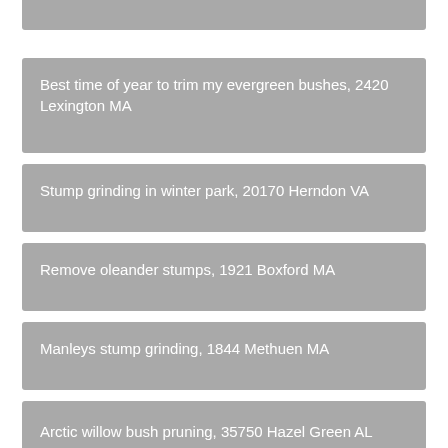Best time of year to trim my evergreen bushes, 2420 Lexington MA
Stump grinding in winter park, 20170 Herndon VA
Remove oleander stumps, 1921 Boxford MA
Manleys stump grinding, 1844 Methuen MA
Arctic willow bush pruning, 35750 Hazel Green AL
Propagate lilac bush from cutting, 2025 Cohasset MA